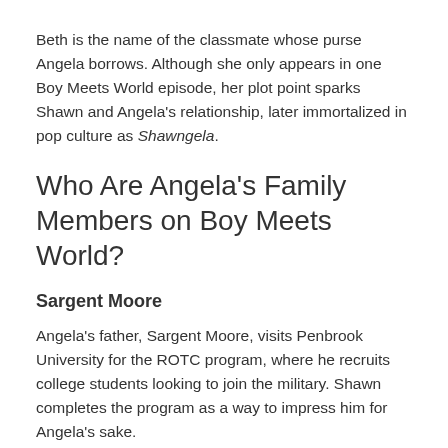Beth is the name of the classmate whose purse Angela borrows. Although she only appears in one Boy Meets World episode, her plot point sparks Shawn and Angela's relationship, later immortalized in pop culture as Shawngela.
Who Are Angela's Family Members on Boy Meets World?
Sargent Moore
Angela's father, Sargent Moore, visits Penbrook University for the ROTC program, where he recruits college students looking to join the military. Shawn completes the program as a way to impress him for Angela's sake.